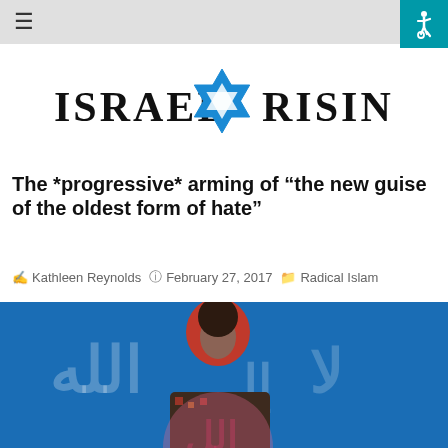≡
[Figure (logo): Israel Rising logo with blue Star of David between the words ISRAEL and RISING in dark serif text]
The *progressive* arming of “the new guise of the oldest form of hate”
Kathleen Reynolds  February 27, 2017  Radical Islam
[Figure (photo): Woman in red hijab speaking at a microphone in front of a blue ISIS/shahada flag with white Arabic text]